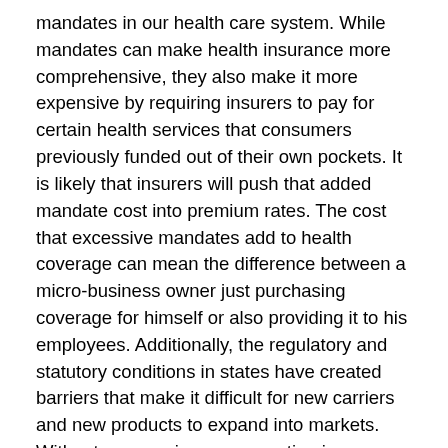mandates in our health care system. While mandates can make health insurance more comprehensive, they also make it more expensive by requiring insurers to pay for certain health services that consumers previously funded out of their own pockets. It is likely that insurers will push that added mandate cost into premium rates. The cost that excessive mandates add to health coverage can mean the difference between a micro-business owner just purchasing coverage for himself or also providing it to his employees. Additionally, the regulatory and statutory conditions in states have created barriers that make it difficult for new carriers and new products to expand into markets. Without new carriers or competing insurance products, prices will remain high when one insurance carrier dominates a market.
M[scroll button]-business owners have long been a proponent of market-based solutions for dealing with our health care system. However, "competition without competitors will not...